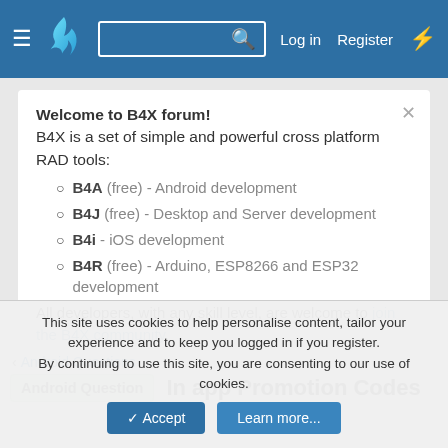[Figure (screenshot): B4X forum website header with hamburger menu, flame logo, search box, Log in, Register, and bolt icon on blue background]
Welcome to B4X forum! B4X is a set of simple and powerful cross platform RAD tools:
B4A (free) - Android development
B4J (free) - Desktop and Server development
B4i - iOS development
B4R (free) - Arduino, ESP8266 and ESP32 development
All developers, with any skill level, are welcome to join the B4X community.
< Android Questions
Android Question  In app Promotion Codes
This site uses cookies to help personalise content, tailor your experience and to keep you logged in if you register. By continuing to use this site, you are consenting to our use of cookies.